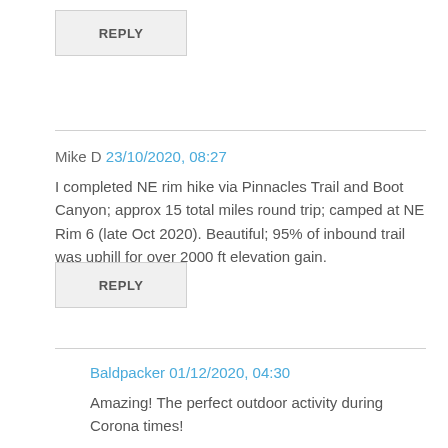REPLY
Mike D 23/10/2020, 08:27
I completed NE rim hike via Pinnacles Trail and Boot Canyon; approx 15 total miles round trip; camped at NE Rim 6 (late Oct 2020). Beautiful; 95% of inbound trail was uphill for over 2000 ft elevation gain.
REPLY
Baldpacker 01/12/2020, 04:30
Amazing! The perfect outdoor activity during Corona times!